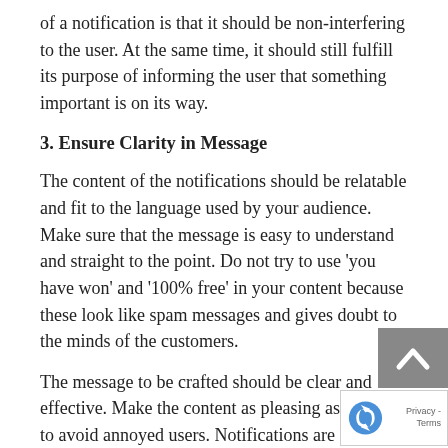of a notification is that it should be non-interfering to the user. At the same time, it should still fulfill its purpose of informing the user that something important is on its way.
3. Ensure Clarity in Message
The content of the notifications should be relatable and fit to the language used by your audience. Make sure that the message is easy to understand and straight to the point. Do not try to use 'you have won' and '100% free' in your content because these look like spam messages and gives doubt to the minds of the customers.
The message to be crafted should be clear and effective. Make the content as pleasing as possible to avoid annoyed users. Notifications are a useful tool in communication to your users, so you must stick to your brand persona and writing styles, and at the same time, be unique with your messages, do not make it look like a template.